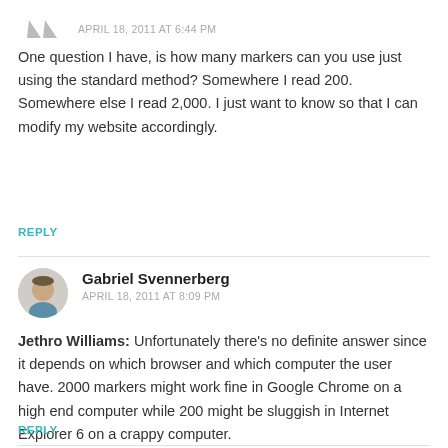APRIL 18, 2011 AT 6:44 PM
One question I have, is how many markers can you use just using the standard method? Somewhere I read 200. Somewhere else I read 2,000. I just want to know so that I can modify my website accordingly.
REPLY
Gabriel Svennerberg
APRIL 18, 2011 AT 8:09 PM
Jethro Williams: Unfortunately there’s no definite answer since it depends on which browser and which computer the user have. 2000 markers might work fine in Google Chrome on a high end computer while 200 might be sluggish in Internet Explorer 6 on a crappy computer.
REPLY